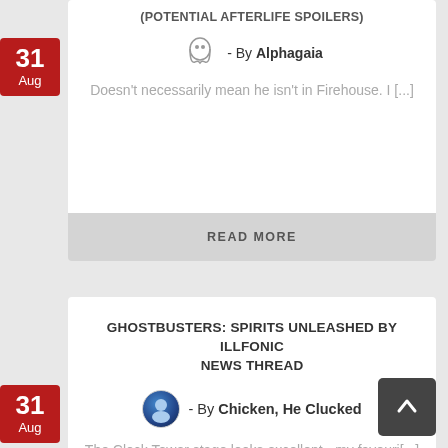(POTENTIAL AFTERLIFE SPOILERS)
- By Alphagaia
Doesn't necessarily mean he isn't in Firehouse. I [...]
READ MORE
GHOSTBUSTERS: SPIRITS UNLEASHED BY ILLFONIC NEWS THREAD
- By Chicken, He Clucked
The Clock Tower stage looks excellent - my favouri[...]
READ MORE
GHOSTBUSTERS COMING TO SONIC!
- By timeware